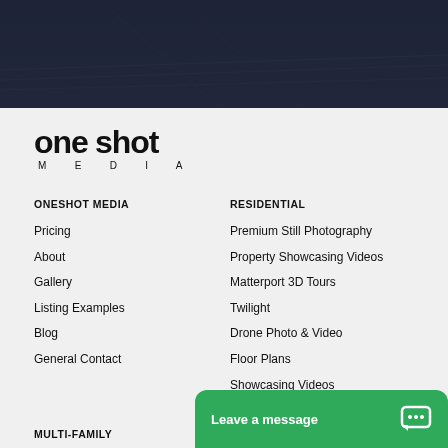[Figure (photo): Dark aerial cityscape hero image at top of page]
[Figure (logo): OneShot Media logo with large bold 'oneshot' text and 'MEDIA' subtitle in spaced caps]
ONESHOT MEDIA
Pricing
About
Gallery
Listing Examples
Blog
General Contact
RESIDENTIAL
Premium Still Photography
Property Showcasing Videos
Matterport 3D Tours
Twilight
Drone Photo & Video
Floor Plans
Showcasing Videos
Agent Branding & Marketing
Twilight
MULTI-FAMILY
Leave a message